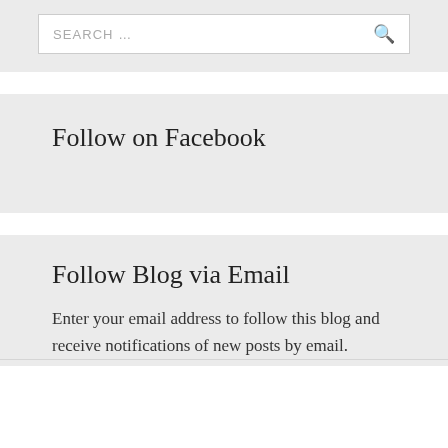SEARCH ...
Follow on Facebook
Follow Blog via Email
Enter your email address to follow this blog and receive notifications of new posts by email.